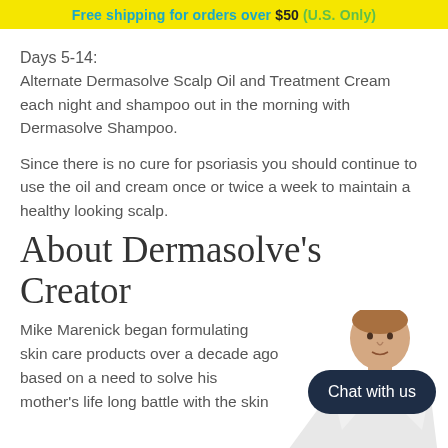Free shipping for orders over $50 (U.S. Only)
Days 5-14:
Alternate Dermasolve Scalp Oil and Treatment Cream each night and shampoo out in the morning with Dermasolve Shampoo.
Since there is no cure for psoriasis you should continue to use the oil and cream once or twice a week to maintain a healthy looking scalp.
About Dermasolve's Creator
Mike Marenick began formulating skin care products over a decade ago based on a need to solve his mother's life long battle with the skin...
[Figure (photo): Photo of Mike Marenick, creator of Dermasolve, a man in a white coat]
Chat with us